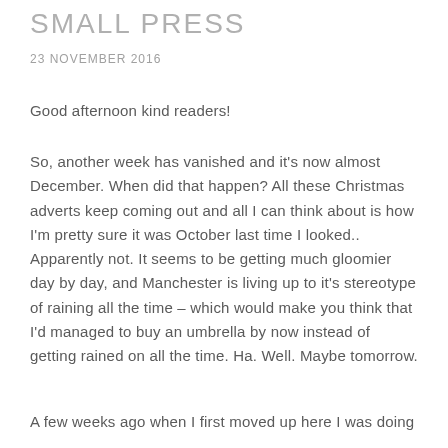SMALL PRESS
23 NOVEMBER 2016
Good afternoon kind readers!
So, another week has vanished and it's now almost December. When did that happen? All these Christmas adverts keep coming out and all I can think about is how I'm pretty sure it was October last time I looked.. Apparently not. It seems to be getting much gloomier day by day, and Manchester is living up to it's stereotype of raining all the time – which would make you think that I'd managed to buy an umbrella by now instead of getting rained on all the time. Ha. Well. Maybe tomorrow.
A few weeks ago when I first moved up here I was doing